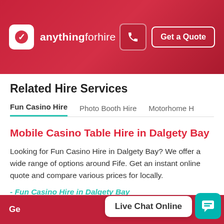anythingforhire — Get a Quote
Related Hire Services
Fun Casino Hire | Photo Booth Hire | Motorhome H
Mobile Casino Table Hire in Dalgety Bay
Looking for Fun Casino Hire in Dalgety Bay? We offer a wide range of options around Fife. Get an instant online quote and compare various prices for locally.
- Fun Casino Hire in Dalgety Bay
Live Chat Online
Ge... io